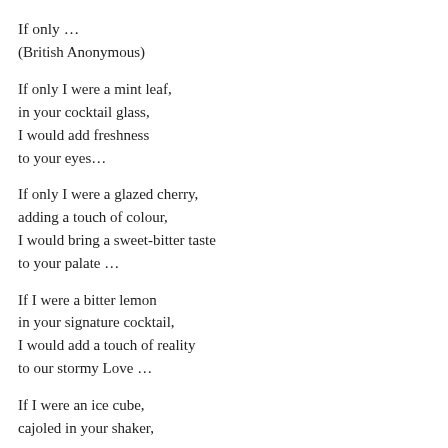If only …
(British Anonymous)
If only I were a mint leaf,
in your cocktail glass,
I would add freshness
to your eyes…
If only I were a glazed cherry,
adding a touch of colour,
I would bring a sweet-bitter taste
to your palate …
If I were a bitter lemon
in your signature cocktail,
I would add a touch of reality
to our stormy Love …
If I were an ice cube,
cajoled in your shaker,